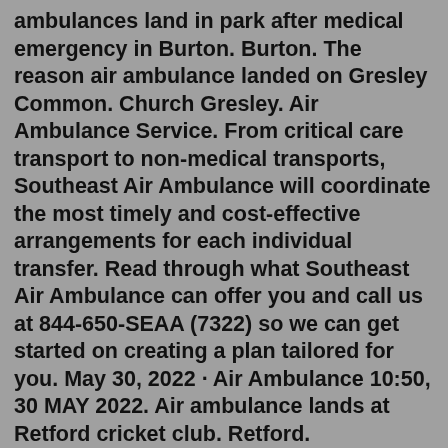ambulances land in park after medical emergency in Burton. Burton. The reason air ambulance landed on Gresley Common. Church Gresley. Air Ambulance Service. From critical care transport to non-medical transports, Southeast Air Ambulance will coordinate the most timely and cost-effective arrangements for each individual transfer. Read through what Southeast Air Ambulance can offer you and call us at 844-650-SEAA (7322) so we can get started on creating a plan tailored for you. May 30, 2022 · Air Ambulance 10:50, 30 MAY 2022. Air ambulance lands at Retford cricket club. Retford. Eyewitnesses heard it fly overhead. What happened as air ambulance spotted over town. Air Ambulance. The Air Ambulance just took off - and a Tutor coming back in from a flight #whatwedo. ... 2211 - Bracknell Air Training Corps. April 16, 2016 · A paramedic films the moment quick-thinking strangers jump out of their cars to clear a dual carriageway of roadwork cones so an ambulance can get to a 999 call in Bracknell. Berkshire. Sep 04, 2000 · We deliver...